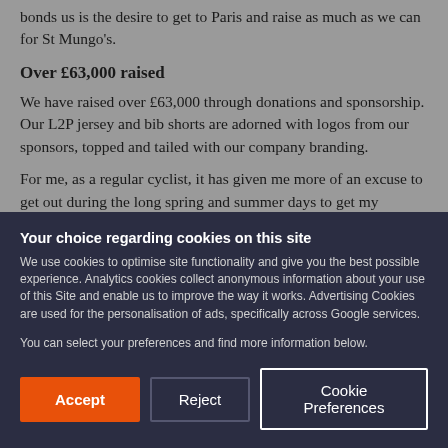bonds us is the desire to get to Paris and raise as much as we can for St Mungo's.
Over £63,000 raised
We have raised over £63,000 through donations and sponsorship. Our L2P jersey and bib shorts are adorned with logos from our sponsors, topped and tailed with our company branding.
For me, as a regular cyclist, it has given me more of an excuse to get out during the long spring and summer days to get my training in. After riding Ride London 100 at the end of July, in the St Mungo's colours, my training continued with an increase in the number long rides on consecutive days and now I…
Your choice regarding cookies on this site
We use cookies to optimise site functionality and give you the best possible experience. Analytics cookies collect anonymous information about your use of this Site and enable us to improve the way it works. Advertising Cookies are used for the personalisation of ads, specifically across Google services.

You can select your preferences and find more information below.